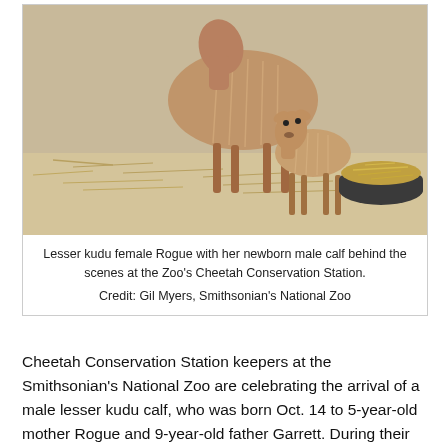[Figure (photo): A lesser kudu female named Rogue stands with her newborn male calf in a stall with hay on the floor. A large round dark feeding bowl filled with hay is visible to the right. The background is a light tan wall.]
Lesser kudu female Rogue with her newborn male calf behind the scenes at the Zoo's Cheetah Conservation Station.
Credit: Gil Myers, Smithsonian's National Zoo
Cheetah Conservation Station keepers at the Smithsonian's National Zoo are celebrating the arrival of a male lesser kudu calf, who was born Oct. 14 to 5-year-old mother Rogue and 9-year-old father Garrett. During their routine animal health assessments